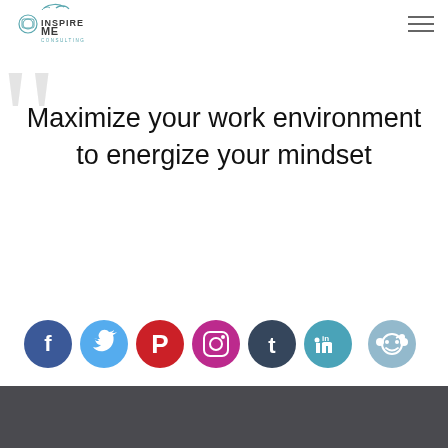[Figure (logo): InspireMe Consulting logo with stylized bird/line drawing and text]
[Figure (illustration): Hamburger/menu icon (three horizontal lines) in top right corner]
[Figure (illustration): Large decorative quotation mark graphics in light gray on left side]
Maximize your work environment to energize your mindset
[Figure (infographic): Row of 7 social media icon circles: Facebook (blue), Twitter (light blue), Pinterest (red), Instagram (magenta), Tumblr (dark teal), LinkedIn (teal), Reddit (light blue-gray)]